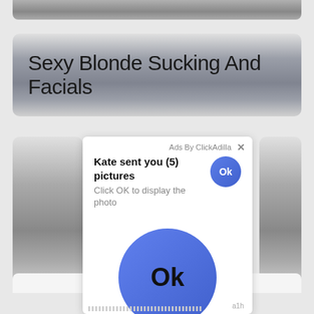[Figure (screenshot): Top partial gray gradient banner bar at top of page]
Sexy Blonde Sucking And Facials
[Figure (screenshot): Ad popup overlay: 'Kate sent you (5) pictures / Click OK to display the photo' with small Ok button and large Ok button circle. Ads By ClickAdilla label with X close button. Footer shows 'a1h' and ticker text.]